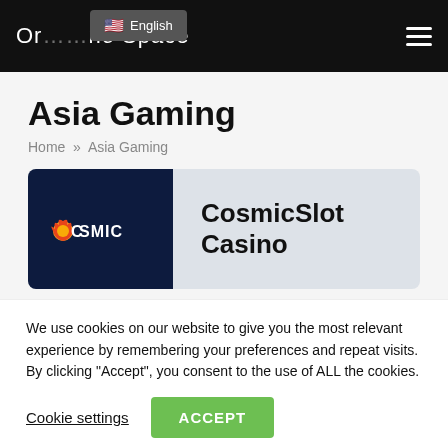Or… no Space — English (language selector)
Asia Gaming
Home » Asia Gaming
[Figure (logo): CosmicSlot Casino logo — dark navy box with COSMIC text and flame icon, next to bold text 'CosmicSlot Casino']
We use cookies on our website to give you the most relevant experience by remembering your preferences and repeat visits. By clicking "Accept", you consent to the use of ALL the cookies.
Cookie settings   ACCEPT